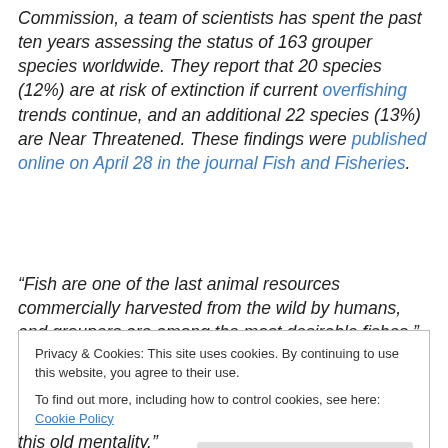Commission, a team of scientists has spent the past ten years assessing the status of 163 grouper species worldwide. They report that 20 species (12%) are at risk of extinction if current overfishing trends continue, and an additional 22 species (13%) are Near Threatened. These findings were published online on April 28 in the journal Fish and Fisheries.
“Fish are one of the last animal resources commercially harvested from the wild by humans, and groupers are among the most desirable fishes,” said Dr. Luiz Rocha,
Privacy & Cookies: This site uses cookies. By continuing to use this website, you agree to their use.
To find out more, including how to control cookies, see here: Cookie Policy
this old mentality."